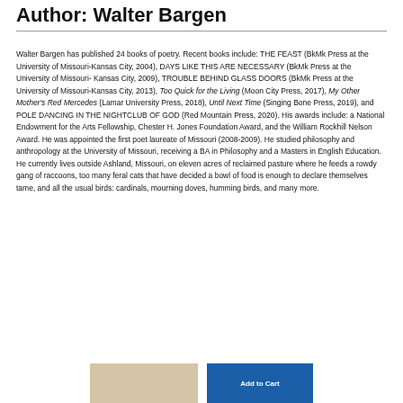Author: Walter Bargen
Walter Bargen has published 24 books of poetry. Recent books include: THE FEAST (BkMk Press at the University of Missouri-Kansas City, 2004), DAYS LIKE THIS ARE NECESSARY (BkMk Press at the University of Missouri- Kansas City, 2009), TROUBLE BEHIND GLASS DOORS (BkMk Press at the University of Missouri-Kansas City, 2013), Too Quick for the Living (Moon City Press, 2017), My Other Mother's Red Mercedes (Lamar University Press, 2018), Until Next Time (Singing Bone Press, 2019), and POLE DANCING IN THE NIGHTCLUB OF GOD (Red Mountain Press, 2020). His awards include: a National Endowment for the Arts Fellowship, Chester H. Jones Foundation Award, and the William Rockhill Nelson Award. He was appointed the first poet laureate of Missouri (2008-2009). He studied philosophy and anthropology at the University of Missouri, receiving a BA in Philosophy and a Masters in English Education. He currently lives outside Ashland, Missouri, on eleven acres of reclaimed pasture where he feeds a rowdy gang of raccoons, too many feral cats that have decided a bowl of food is enough to declare themselves tame, and all the usual birds: cardinals, mourning doves, humming birds, and many more.
[Figure (photo): Book cover thumbnail]
[Figure (other): Add to Cart button]